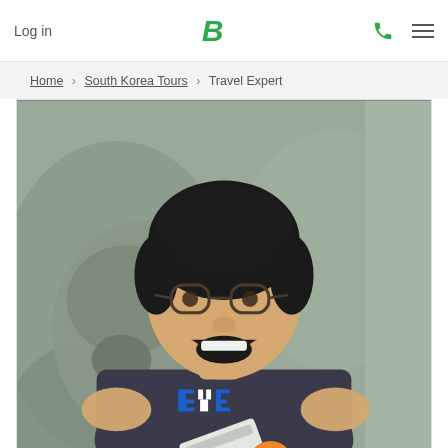Log in | B | phone | menu
Home › South Korea Tours › Travel Expert
[Figure (photo): A smiling man with glasses and dark hair, wearing a dark t-shirt with 'BYE' text graphic, standing in front of a large stone lion sculpture, holding some items, making an excited expression.]